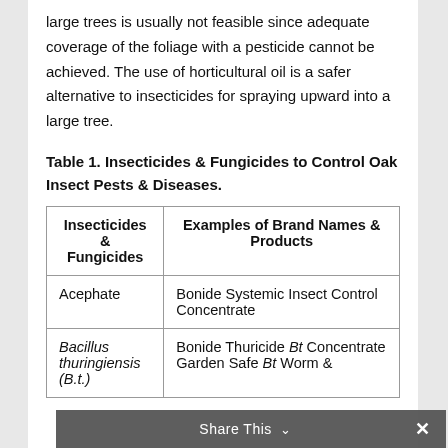large trees is usually not feasible since adequate coverage of the foliage with a pesticide cannot be achieved. The use of horticultural oil is a safer alternative to insecticides for spraying upward into a large tree.
Table 1. Insecticides & Fungicides to Control Oak Insect Pests & Diseases.
| Insecticides & Fungicides | Examples of Brand Names & Products |
| --- | --- |
| Acephate | Bonide Systemic Insect Control Concentrate |
| Bacillus thuringiensis (B.t.) | Bonide Thuricide Bt Concentrate
Garden Safe Bt Worm & |
Share This ∨  ×